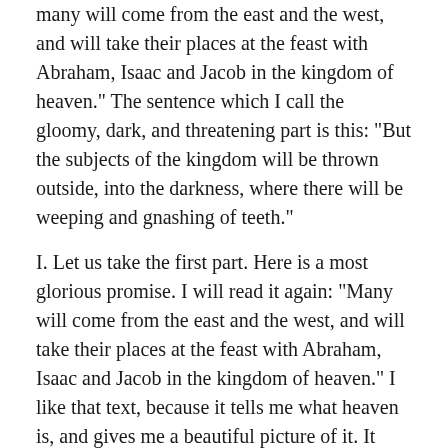many will come from the east and the west, and will take their places at the feast with Abraham, Isaac and Jacob in the kingdom of heaven." The sentence which I call the gloomy, dark, and threatening part is this: "But the subjects of the kingdom will be thrown outside, into the darkness, where there will be weeping and gnashing of teeth."
I. Let us take the first part. Here is a most glorious promise. I will read it again: "Many will come from the east and the west, and will take their places at the feast with Abraham, Isaac and Jacob in the kingdom of heaven." I like that text, because it tells me what heaven is, and gives me a beautiful picture of it. It says, it is a place where I will sit down with Abraham, and Isaac, and Jacob. O what a sweet thought that is for the working man! He often suffers from the stress and fatigue of the job, and wonders